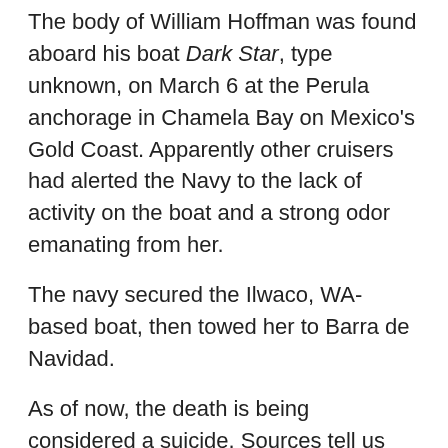The body of William Hoffman was found aboard his boat Dark Star, type unknown, on March 6 at the Perula anchorage in Chamela Bay on Mexico's Gold Coast. Apparently other cruisers had alerted the Navy to the lack of activity on the boat and a strong odor emanating from her.
The navy secured the Ilwaco, WA-based boat, then towed her to Barra de Navidad.
As of now, the death is being considered a suicide. Sources tell us this was based on the fact that Hoffman's wrists were cut, there were no signs of a struggle, nothing seems to have been taken from the boat, the boat was not in disarray, and there was a partially completed suicide note.